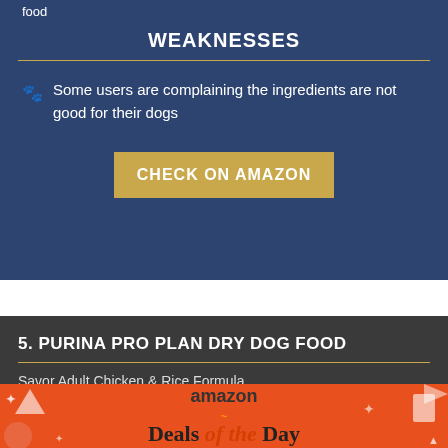food
WEAKNESSES
Some users are complaining the ingredients are not good for their dogs
CHECK ON AMAZON
5. PURINA PRO PLAN DRY DOG FOOD
Savor Adult Chicken & Rice Formula
[Figure (infographic): Amazon Deals of the Day promotional banner with orange background and decorative icons]